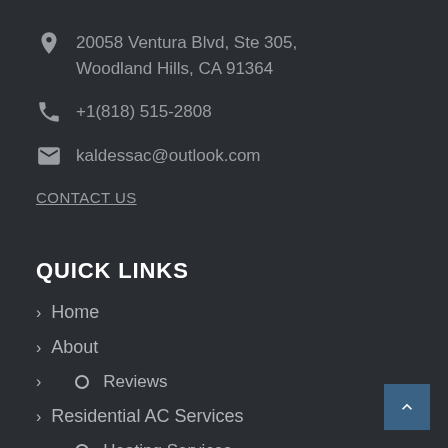20058 Ventura Blvd, Ste 305, Woodland Hills, CA 91364
+1(818) 515-2808
kaldessac@outlook.com
CONTACT US
QUICK LINKS
Home
About
Reviews
Residential AC Services
Heating Services